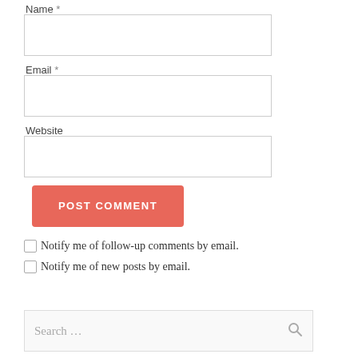Name *
[Figure (screenshot): Empty text input field for Name]
Email *
[Figure (screenshot): Empty text input field for Email]
Website
[Figure (screenshot): Empty text input field for Website]
[Figure (screenshot): POST COMMENT button in salmon/coral color]
Notify me of follow-up comments by email.
Notify me of new posts by email.
[Figure (screenshot): Search input field with placeholder 'Search ...' and a search icon]